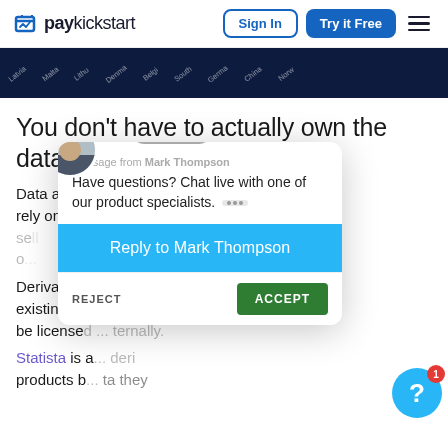paykickstart — Sign In | Try it Free
[Figure (screenshot): Dark navy map banner showing country names at an angle: Latvia, Malta, Lithuania, Denmark, Belgium, South, Germany, China, Norway]
You don't have to actually own the data to sell it.
Data as a service (DaaS) companies don't need to rely on derived products or sell their own data — se... o...
Derivative p... remixing existing con... be licensed ... nternally.
Statista is a... deri... products b... ta they
[Figure (screenshot): Chat widget overlay with avatar of Mark Thompson. Close button at top. Message from Mark Thompson: 'Have questions? Chat live with one of our product specialists.' Blue 'Reply to Mark Thompson' button. Below: REJECT and ACCEPT cookie buttons. Bottom right: blue help bubble with ? and red badge showing 1.]